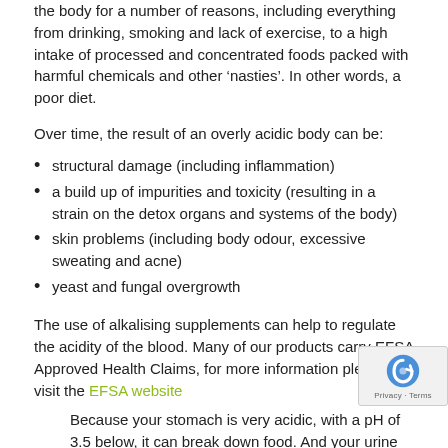the body for a number of reasons, including everything from drinking, smoking and lack of exercise, to a high intake of processed and concentrated foods packed with harmful chemicals and other ‘nasties’. In other words, a poor diet.
Over time, the result of an overly acidic body can be:
structural damage (including inflammation)
a build up of impurities and toxicity (resulting in a strain on the detox organs and systems of the body)
skin problems (including body odour, excessive sweating and acne)
yeast and fungal overgrowth
The use of alkalising supplements can help to regulate the acidity of the blood. Many of our products carry EFSA Approved Health Claims, for more information please visit the EFSA website
Because your stomach is very acidic, with a pH of 3.5 below, it can break down food. And your urine changes